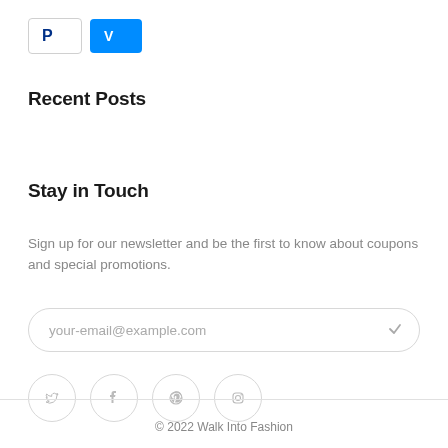[Figure (logo): PayPal and Venmo payment icons]
Recent Posts
Stay in Touch
Sign up for our newsletter and be the first to know about coupons and special promotions.
your-email@example.com
[Figure (infographic): Social media icons: Twitter, Facebook, Pinterest, Instagram in circular outlines]
© 2022 Walk Into Fashion